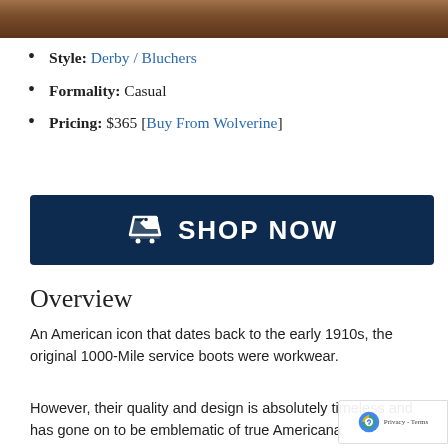[Figure (photo): Partial photo of leather boots/shoes, cropped at top of page]
Style: Derby / Bluchers
Formality: Casual
Pricing: $365 [Buy From Wolverine]
[Figure (other): Dark navy Shop Now button with price tag icon]
Overview
An American icon that dates back to the early 1910s, the original 1000-Mile service boots were workwear.
However, their quality and design is absolutely timeless and has gone on to be emblematic of true Americana